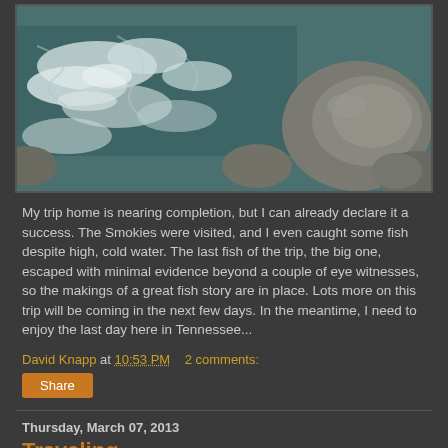[Figure (photo): Photograph of a rushing river or stream with white water rapids and large rocks, viewed from above. The water is turbulent with white foam and the rocks are gray and brown.]
My trip home is nearing completion, but I can already declare it a success.  The Smokies were visited, and I even caught some fish despite high, cold water.  The last fish of the trip, the big one, escaped with minimal evidence beyond a couple of eye witnesses, so the makings of a great fish story are in place.  Lots more on this trip will be coming in the next few days.  In the meantime, I need to enjoy the last day here in Tennessee...
David Knapp at 10:53 PM   2 comments:
Share
Thursday, March 07, 2013
Traveling...